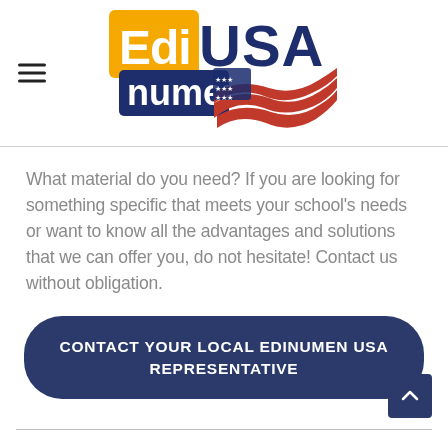[Figure (logo): EdiNumen USA logo — orange rectangle with 'Edi' text, dark blue rectangle with 'numen' text, large dark blue 'USA' text, and American flag wave graphic]
What material do you need? If you are looking for something specific that meets your school's needs or want to know all the advantages and solutions that we can offer you, do not hesitate! Contact us without obligation.
CONTACT YOUR LOCAL EDINUMEN USA REPRESENTATIVE